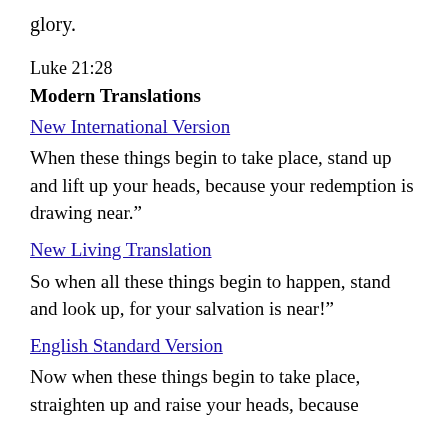glory.
Luke 21:28
Modern Translations
New International Version
When these things begin to take place, stand up and lift up your heads, because your redemption is drawing near.”
New Living Translation
So when all these things begin to happen, stand and look up, for your salvation is near!”
English Standard Version
Now when these things begin to take place, straighten up and raise your heads, because